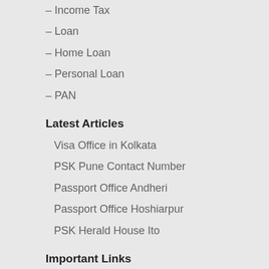– Income Tax
– Loan
– Home Loan
– Personal Loan
– PAN
Latest Articles
Visa Office in Kolkata
PSK Pune Contact Number
Passport Office Andheri
Passport Office Hoshiarpur
PSK Herald House Ito
Important Links
– Home
– About US
– Contact US